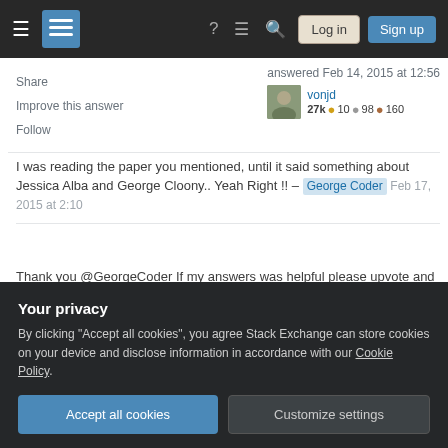Stack Exchange navigation bar with Log in and Sign up buttons
Share
Improve this answer
Follow
answered Feb 14, 2015 at 12:56
vonjd
27k • 10 • 98 • 160
I was reading the paper you mentioned, until it said something about Jessica Alba and George Cloony.. Yeah Right !! – George Coder  Feb 17, 2015 at 2:10
Thank you @GeorgeCoder If my answers was helpful please upvote and perhaps even accept it. I have noticed that you haven't cast a single vote since you joined. Feedback is very valuable for the community -
Your privacy
By clicking "Accept all cookies", you agree Stack Exchange can store cookies on your device and disclose information in accordance with our Cookie Policy.
Accept all cookies    Customize settings
comment. – George Coder  Apr 23, 2016 at 16:34